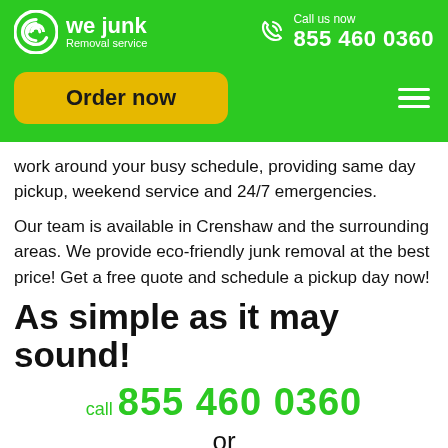[Figure (logo): We Junk Removal Service logo with green spiral icon and white text]
Call us now
855 460 0360
Order now
work around your busy schedule, providing same day pickup, weekend service and 24/7 emergencies.
Our team is available in Crenshaw and the surrounding areas. We provide eco-friendly junk removal at the best price! Get a free quote and schedule a pickup day now!
As simple as it may sound!
call 855 460 0360
or